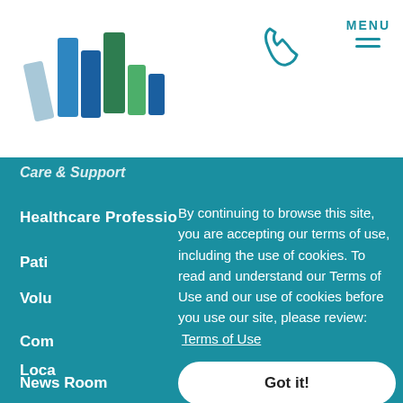[Figure (logo): Colorful books/library logo in blue and green tones]
MENU
Care & Support
Healthcare Professionals
Pati
Volu
By continuing to browse this site, you are accepting our terms of use, including the use of cookies. To read and understand our Terms of Use and our use of cookies before you use our site, please review: Terms of Use
Com
Loca
Got it!
News Room